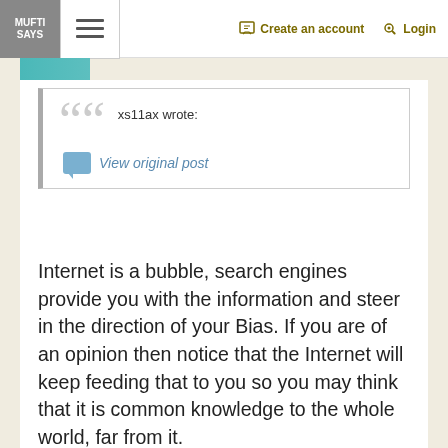MUFTI SAYS | ☰ | ✎ Create an account | 🔑 Login
[Figure (screenshot): Quote block with large grey quotation marks, author 'xs11ax wrote:' and a 'View original post' link with chat bubble icon]
Internet is a bubble, search engines provide you with the information and steer in the direction of your Bias. If you are of an opinion then notice that the Internet will keep feeding that to you so you may think that it is common knowledge to the whole world, far from it.